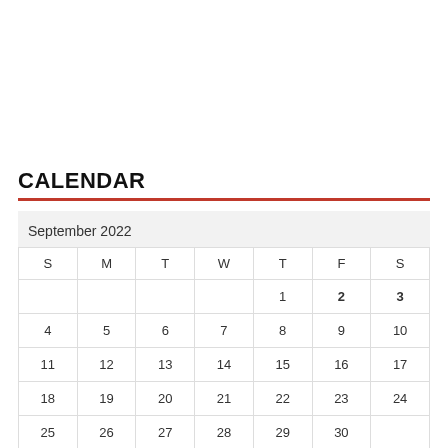CALENDAR
| S | M | T | W | T | F | S |
| --- | --- | --- | --- | --- | --- | --- |
|  |  |  |  | 1 | 2 | 3 |
| 4 | 5 | 6 | 7 | 8 | 9 | 10 |
| 11 | 12 | 13 | 14 | 15 | 16 | 17 |
| 18 | 19 | 20 | 21 | 22 | 23 | 24 |
| 25 | 26 | 27 | 28 | 29 | 30 |  |